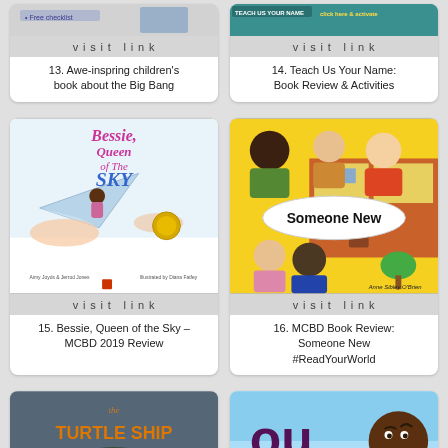[Figure (photo): Partial book cover image - top of card 13, children's book about the Big Bang with 'Free checklist' text visible]
visit link
13. Awe-inspring children's book about the Big Bang
[Figure (photo): Partial book cover image - top of card 14, Teach Us Your Name book cover (teal/green background)]
visit link
14. Teach Us Your Name: Book Review & Activities
[Figure (photo): Book cover: Bessie, Queen of the Sky - illustration of a girl flying on a paper airplane with clouds]
visit link
15. Bessie, Queen of the Sky - MCBD 2019 Review
[Figure (photo): Book cover: Someone New by Anne Sibley O'Brien - illustration of diverse children outside a school building]
visit link
16. MCBD Book Review: Someone New #ReadYourWorld
[Figure (photo): Partial book cover: The Turtle Ship - orange text on dark background with turtle illustration]
[Figure (photo): Partial book cover - purple/maroon letters 'ou' visible with a child's face, blue sky background]